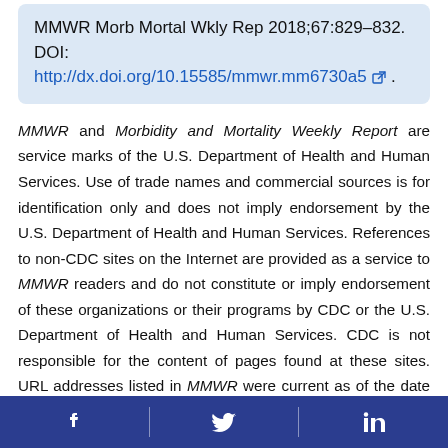MMWR Morb Mortal Wkly Rep 2018;67:829–832. DOI: http://dx.doi.org/10.15585/mmwr.mm6730a5 .
MMWR and Morbidity and Mortality Weekly Report are service marks of the U.S. Department of Health and Human Services. Use of trade names and commercial sources is for identification only and does not imply endorsement by the U.S. Department of Health and Human Services. References to non-CDC sites on the Internet are provided as a service to MMWR readers and do not constitute or imply endorsement of these organizations or their programs by CDC or the U.S. Department of Health and Human Services. CDC is not responsible for the content of pages found at these sites. URL addresses listed in MMWR were current as of the date of publication.
Facebook | Twitter | LinkedIn